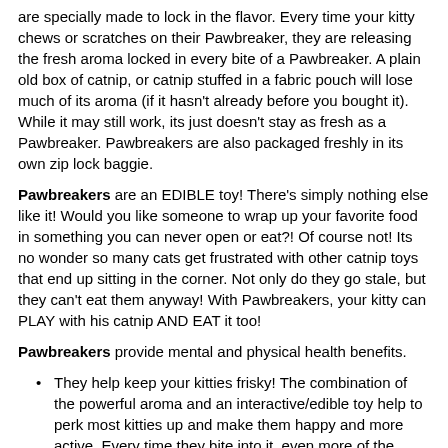are specially made to lock in the flavor. Every time your kitty chews or scratches on their Pawbreaker, they are releasing the fresh aroma locked in every bite of a Pawbreaker. A plain old box of catnip, or catnip stuffed in a fabric pouch will lose much of its aroma (if it hasn't already before you bought it). While it may still work, its just doesn't stay as fresh as a Pawbreaker. Pawbreakers are also packaged freshly in its own zip lock baggie.
Pawbreakers are an EDIBLE toy! There's simply nothing else like it! Would you like someone to wrap up your favorite food in something you can never open or eat?! Of course not! Its no wonder so many cats get frustrated with other catnip toys that end up sitting in the corner. Not only do they go stale, but they can't eat them anyway! With Pawbreakers, your kitty can PLAY with his catnip AND EAT it too!
Pawbreakers provide mental and physical health benefits.
They help keep your kitties frisky! The combination of the powerful aroma and an interactive/edible toy help to perk most kitties up and make them happy and more active. Every time they bite into it, even more of the natural aroma is released, making them even more interested.
Provides Nutrients! The high-quality catnip used in Pawbreakers naturally provides vitamins and minerals including: Calcium, Magnesium, Manganese, Phosphorus, Potassium, Protein, Selenium, Vitamin A, Vitamin C, multiple B vitamins and more!
Aids in digestion. Pawbreakers can help keep your kitties with...